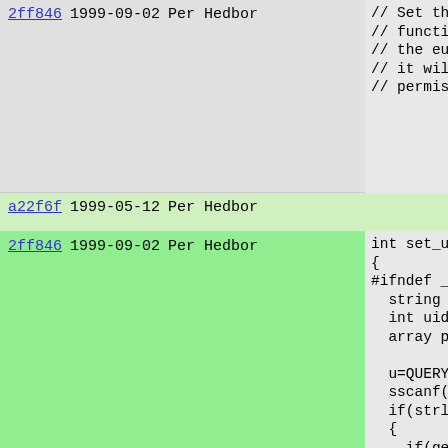| hash | date | author | code |
| --- | --- | --- | --- |
| 2ff846 | 1999-09-02 | Per Hedbor | // Set the
// functio
// the eui
// it will
// permiss |
| a22f6f | 1999-05-12 | Per Hedbor |  |
| 2ff846 | 1999-09-02 | Per Hedbor | int set_u_
{
#ifndef __
  string u
  int uid,
  array pw

  u=QUERY(
  sscanf(u
  if(strle
  {
    if(get
    {
      repo

    } else
      if (
#if consta
      pw =
        if |